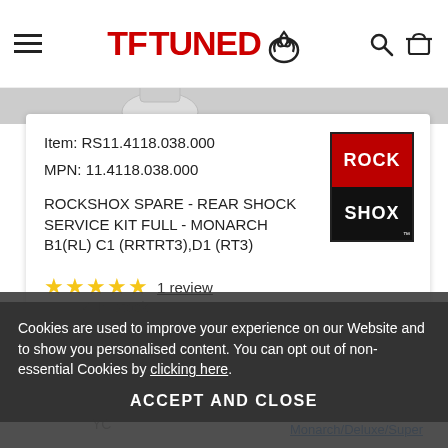TFTUNED
[Figure (screenshot): Partial product image strip at top of page]
Item: RS11.4118.038.000
MPN: 11.4118.038.000
ROCKSHOX SPARE - REAR SHOCK SERVICE KIT FULL - MONARCH B1(RL) C1 (RRTRT3),D1 (RT3)
[Figure (logo): RockShox logo: red top half with ROCK, black bottom half with SHOX]
1 review
Cookies are used to improve your experience on our Website and to show you personalised content. You can opt out of non-essential Cookies by clicking here.
ACCEPT AND CLOSE